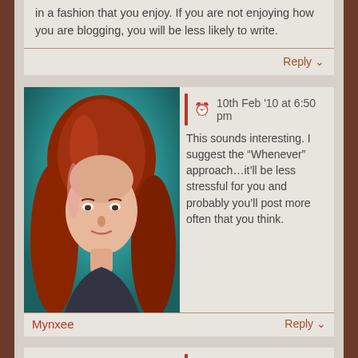in a fashion that you enjoy. If you are not enjoying how you are blogging, you will be less likely to write.
Reply
10th Feb '10 at 6:50 pm
This sounds interesting. I suggest the “Whenever” approach…it’ll be less stressful for you and probably you’ll post more often that you think.
Mynxee
Reply
10th Feb '10 at 7:23 pm
Your posting frequency should match your goals. If your goal is just to have a place to throw stuff up when you feel like it, then